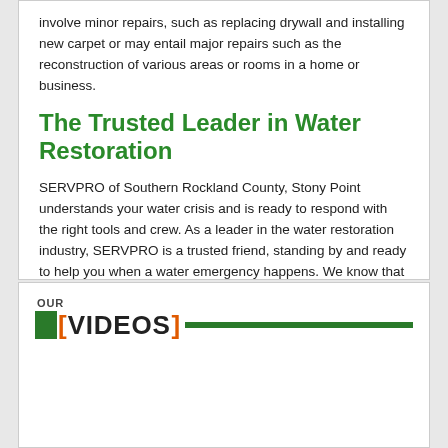involve minor repairs, such as replacing drywall and installing new carpet or may entail major repairs such as the reconstruction of various areas or rooms in a home or business.
The Trusted Leader in Water Restoration
SERVPRO of Southern Rockland County, Stony Point understands your water crisis and is ready to respond with the right tools and crew. As a leader in the water restoration industry, SERVPRO is a trusted friend, standing by and ready to help you when a water emergency happens. We know that when water damage affects your home, it can be upsetting. Let us answer any questions you have at (845) 400-4888. We are ready to make this situation “Like it never even happened.”
OUR VIDEOS